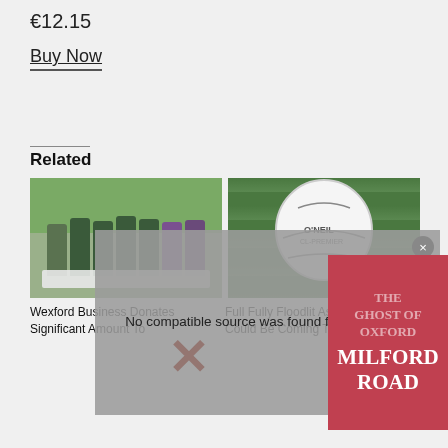€12.15
Buy Now
Related
[Figure (photo): Group of young men holding a large cheque banner outdoors on a sports field]
[Figure (photo): Close-up of a white GAA football on green astroturf]
[Figure (screenshot): Video player overlay showing message: No compatible source was found for this media.]
[Figure (illustration): Book cover overlay: THE GHOST OF OXFORD MILFORD ROAD with red background]
Wexford Business Donates Significant Amount To
Full Fully Floodlit Astroturf Pitch Could Be Coming To